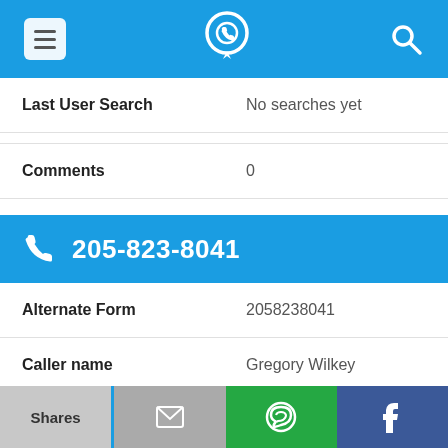App header bar with menu, phone locator logo, and search icon
| Field | Value |
| --- | --- |
| Last User Search | No searches yet |
| Comments | 0 |
205-823-8041
| Field | Value |
| --- | --- |
| Alternate Form | 2058238041 |
| Caller name | Gregory Wilkey |
| Last User Search | No searches yet |
| Comments | 0 |
Shares | [email icon] | [WhatsApp icon] | [Facebook icon]